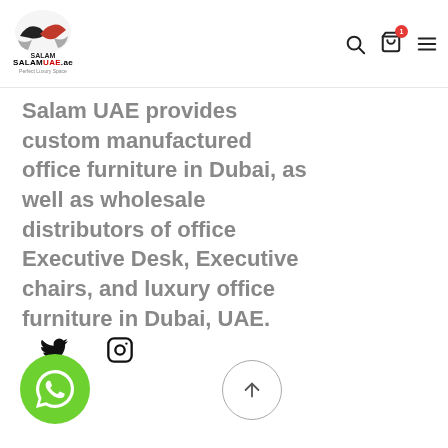[Figure (logo): SalamUAE.ae logo with handshake graphic and tagline 'Perfect Luxury Space']
Salam UAE provides custom manufactured office furniture in Dubai, as well as wholesale distributors of office Executive Desk, Executive chairs, and luxury office furniture in Dubai, UAE.
[Figure (other): Social media icons: Twitter bird icon and Instagram camera icon]
[Figure (other): Green WhatsApp floating button with phone/chat icon]
[Figure (other): Scroll to top circular button with upward arrow]